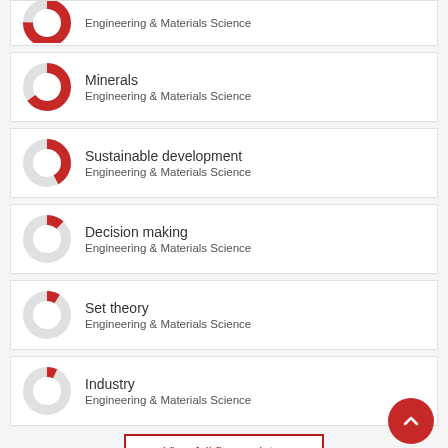Flow analysis — Engineering & Materials Science
Minerals — Engineering & Materials Science
Sustainable development — Engineering & Materials Science
Decision making — Engineering & Materials Science
Set theory — Engineering & Materials Science
Industry — Engineering & Materials Science
View full fingerprint >